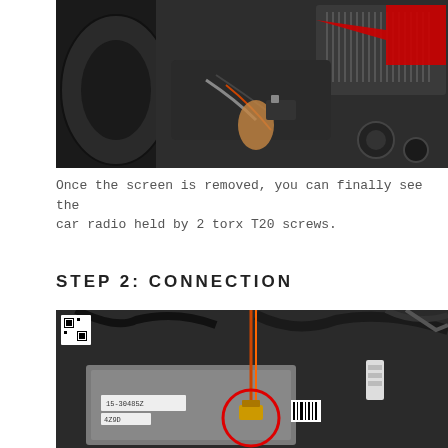[Figure (photo): Photo of car interior showing radio area with red arrow annotation pointing to car radio components behind steering wheel, with visible wiring and connectors.]
Once the screen is removed, you can finally see the car radio held by 2 torx T20 screws.
STEP 2: CONNECTION
[Figure (photo): Photo of car radio wiring area showing electronic control unit labeled 15-30485Z with wiring harness, red and orange wires, and a red circle annotation highlighting a connector point.]